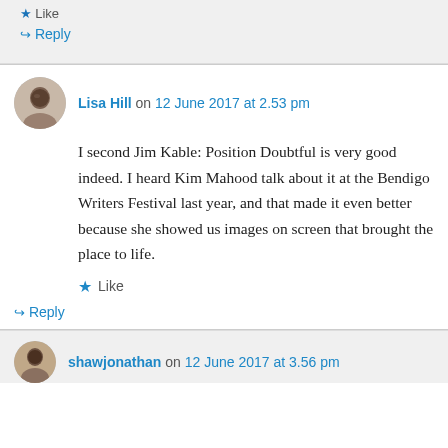Like
↳ Reply
Lisa Hill on 12 June 2017 at 2.53 pm
I second Jim Kable: Position Doubtful is very good indeed. I heard Kim Mahood talk about it at the Bendigo Writers Festival last year, and that made it even better because she showed us images on screen that brought the place to life.
★ Like
↳ Reply
shawjonathan on 12 June 2017 at 3.56 pm